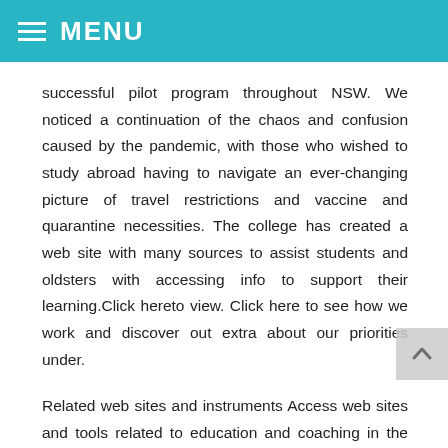MENU
successful pilot program throughout NSW. We noticed a continuation of the chaos and confusion caused by the pandemic, with those who wished to study abroad having to navigate an ever-changing picture of travel restrictions and vaccine and quarantine necessities. The college has created a web site with many sources to assist students and oldsters with accessing info to support their learning.Click hereto view. Click here to see how we work and discover out extra about our priorities under.
Related web sites and instruments Access web sites and tools related to education and coaching in the EU. Digital education Promoting the event of a high-performing European digital education ecosystem. About the EEA Supporting collaboration to build College Education extra resilient and inclusive education and training systems. CBSE